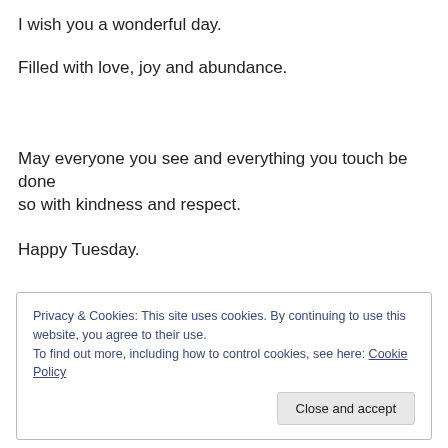I wish you a wonderful day.
Filled with love, joy and abundance.
May everyone you see and everything you touch be done so with kindness and respect.
Happy Tuesday.
Privacy & Cookies: This site uses cookies. By continuing to use this website, you agree to their use. To find out more, including how to control cookies, see here: Cookie Policy